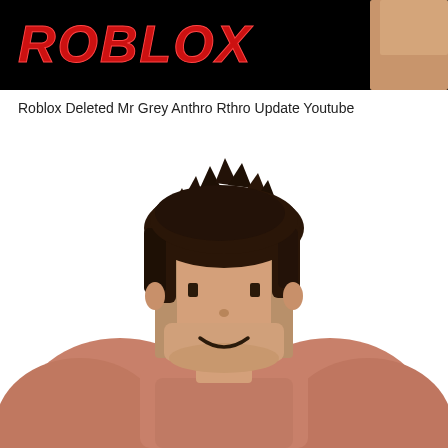[Figure (screenshot): Top banner showing partial Roblox logo in red letters on black background with a person visible on the right side]
Roblox Deleted Mr Grey Anthro Rthro Update Youtube
[Figure (photo): Roblox Anthro/Rthro character face closeup - a human-proportioned Roblox character with pixelated brown hair on top, a skin-toned blocky face with simple dot eyes and small curved smile, and muscular skin-toned shoulders/body below]